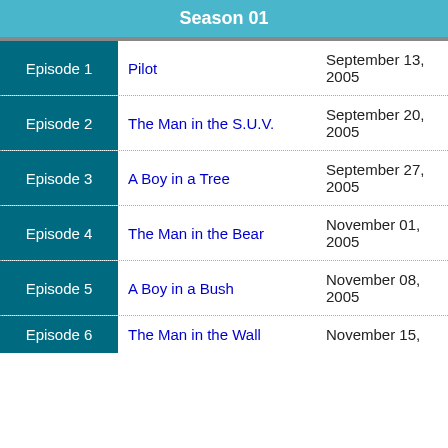Season 01
| Episode | Title | Air Date |
| --- | --- | --- |
| Episode 1 | Pilot | September 13, 2005 |
| Episode 2 | The Man in the S.U.V. | September 20, 2005 |
| Episode 3 | A Boy in a Tree | September 27, 2005 |
| Episode 4 | The Man in the Bear | November 01, 2005 |
| Episode 5 | A Boy in a Bush | November 08, 2005 |
| Episode 6 | The Man in the Wall | November 15, |